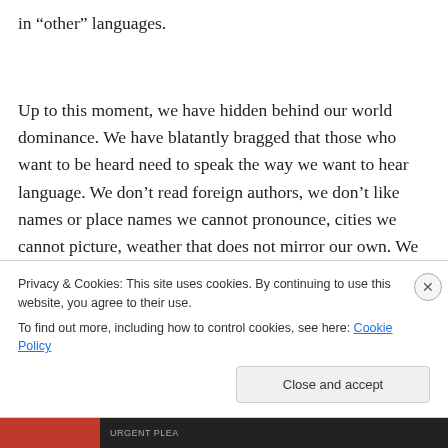in “other” languages.
Up to this moment, we have hidden behind our world dominance. We have blatantly bragged that those who want to be heard need to speak the way we want to hear language. We don’t read foreign authors, we don’t like names or place names we cannot pronounce, cities we cannot picture, weather that does not mirror our own. We
Privacy & Cookies: This site uses cookies. By continuing to use this website, you agree to their use.
To find out more, including how to control cookies, see here: Cookie Policy
Close and accept